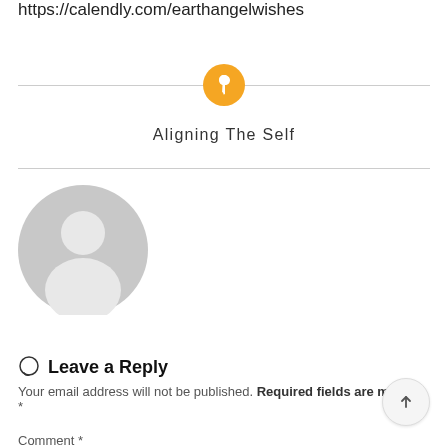https://calendly.com/earthangelwishes
[Figure (logo): Orange circular pin/thumbtack icon used as site logo divider]
Aligning The Self
[Figure (photo): Gray default user avatar circle with person silhouette]
Leave a Reply
Your email address will not be published. Required fields are marked *
Comment *